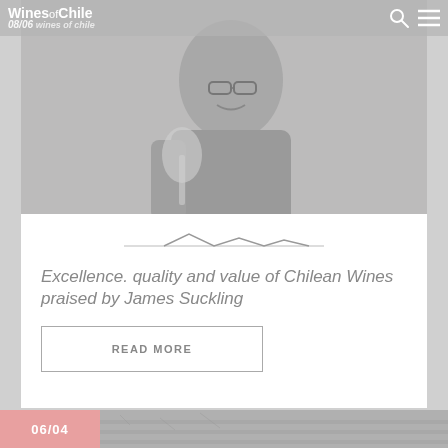Wines of Chile | 08/06
[Figure (photo): Man in glasses holding a wine glass, photo shown in desaturated/grey tones. This is the hero image for the article about James Suckling praising Chilean Wines.]
[Figure (illustration): Mountain silhouette graphic divider above the article card title.]
Excellence. quality and value of Chilean Wines praised by James Suckling
READ MORE
[Figure (photo): Bottom strip showing a partial image of what appears to be a vineyard or wine-related subject, with a pink/salmon date badge showing 06/04.]